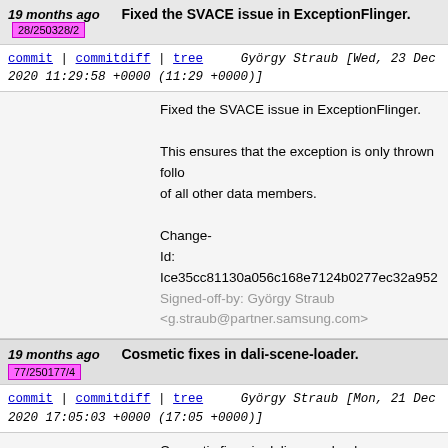19 months ago   Fixed the SVACE issue in ExceptionFlinger.   28/250328/2
commit | commitdiff | tree   György Straub [Wed, 23 Dec 2020 11:29:58 +0000 (11:29 +0000)]
Fixed the SVACE issue in ExceptionFlinger.

This ensures that the exception is only thrown following the initialization of all other data members.

Change-Id: Ice35cc81130a056c168e7124b0277ec32a952...
Signed-off-by: György Straub <g.straub@partner.samsung.com>
19 months ago   Cosmetic fixes in dali-scene-loader.   77/250177/4
commit | commitdiff | tree   György Straub [Mon, 21 Dec 2020 17:05:03 +0000 (17:05 +0000)]
Cosmetic fixes in dali-scene-loader.

- implementation of (public-api) structors moved out of headers;
- default structors replaced with 'default' keyword w...
- disallowed construction of 'namespace' classes;
- whitespace;
- etc.